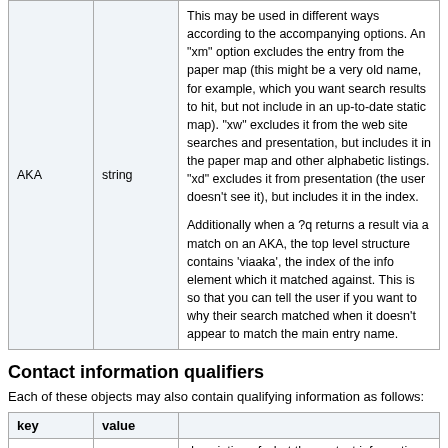| key | value | description |
| --- | --- | --- |
| AKA | string | This may be used in different ways according to the accompanying options. An "xm" option excludes the entry from the paper map (this might be a very old name, for example, which you want search results to hit, but not include in an up-to-date static map). "xw" excludes it from the web site searches and presentation, but includes it in the paper map and other alphabetic listings. "xd" excludes it from presentation (the user doesn't see it), but includes it in the index.

Additionally when a ?q returns a result via a match on an AKA, the top level structure contains 'viaaka', the index of the info element which it matched against. This is so that you can tell the user if you want to why their search matched when it doesn't appear to match the main entry name. |
Contact information qualifiers
Each of these objects may also contain qualifying information as follows:
| key | value |  |
| --- | --- | --- |
|  |  | description of what the contact information will be used |